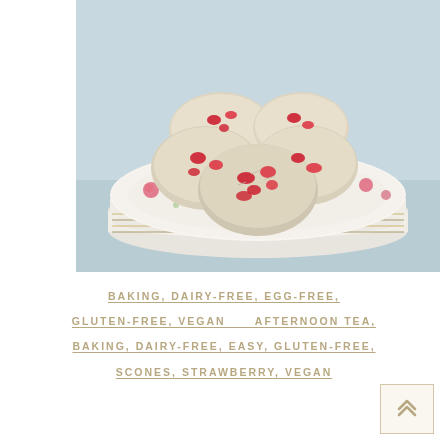[Figure (photo): Strawberry scones stacked on a floral china plate with multiple stacked plates beneath, on a light blue background. The scones are pale golden with visible strawberry pieces.]
BAKING, DAIRY-FREE, EGG-FREE, GLUTEN-FREE, VEGAN   AFTERNOON TEA, BAKING, DAIRY-FREE, EASY, GLUTEN-FREE, SCONES, STRAWBERRY, VEGAN